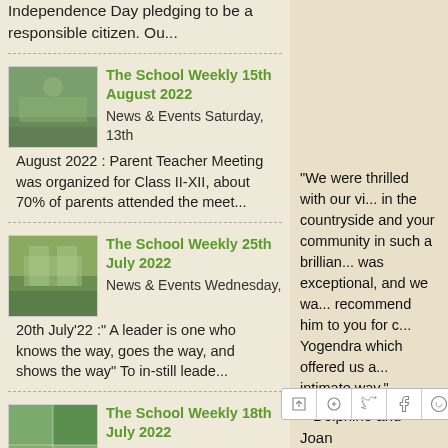Independence Day pledging to be a responsible citizen. Ou...
[Figure (photo): School students gathered outdoors for Independence Day]
The School Weekly 15th August 2022
News & Events Saturday, 13th August 2022 : Parent Teacher Meeting was organized for Class II-XII, about 70% of parents attended the meet...
[Figure (photo): Students in colorful sashes standing on steps]
The School Weekly 25th July 2022
News & Events Wednesday, 20th July'22 :" A leader is one who knows the way, goes the way, and shows the way" To in-still leade...
[Figure (photo): Group of school students outdoors]
The School Weekly 18th July 2022
News & Events
"We were thrilled with our vi... in the countryside and your community in such a brillian... was exceptional, and we wa... recommend him to you for c... Yogendra which offered us a... intimate way."
~ Delphine and Joan